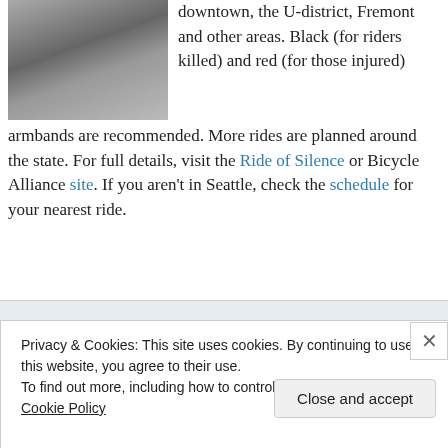[Figure (photo): Photograph of people at an outdoor event, partially visible, showing figures near a pole with signage]
downtown, the U-district, Fremont and other areas. Black (for riders killed) and red (for those injured) armbands are recommended. More rides are planned around the state. For full details, visit the Ride of Silence or Bicycle Alliance site. If you aren't in Seattle, check the schedule for your nearest ride.
[Figure (screenshot): Advertisement banner showing partial text 'the go.' and 'GET THE APP' with WordPress icon]
Privacy & Cookies: This site uses cookies. By continuing to use this website, you agree to their use.
To find out more, including how to control cookies, see here: Cookie Policy
Close and accept